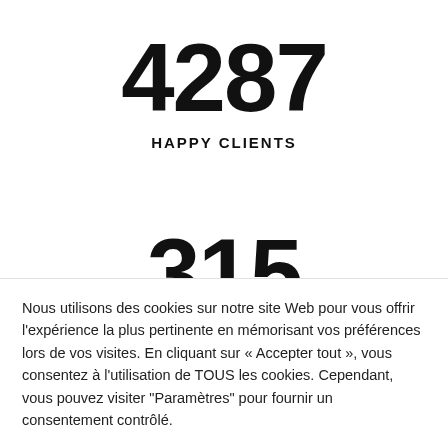4287
HAPPY CLIENTS
Nous utilisons des cookies sur notre site Web pour vous offrir l'expérience la plus pertinente en mémorisant vos préférences lors de vos visites. En cliquant sur « Accepter tout », vous consentez à l'utilisation de TOUS les cookies. Cependant, vous pouvez visiter "Paramètres" pour fournir un consentement contrôlé.
Rejeter tout
Paramètres
Accepter tout